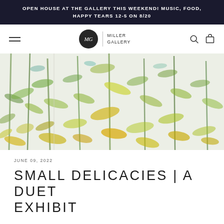OPEN HOUSE AT THE GALLERY THIS WEEKEND! MUSIC, FOOD, HAPPY TEARS 12-5 ON 8/20
[Figure (logo): Miller Gallery navigation bar with hamburger menu on left, Miller Gallery circular logo in center with MG monogram and text 'MILLER GALLERY', and search/cart icons on right]
[Figure (photo): A watercolor or loose painting of tall green and yellow botanical plants/corn stalks on a light background, with expressive brushwork in shades of green, yellow-green, and teal]
JUNE 09, 2022
SMALL DELICACIES | A DUET EXHIBIT